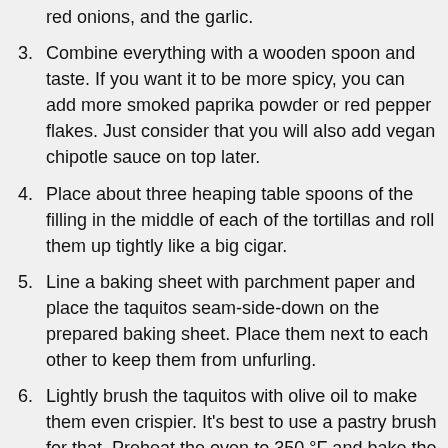red onions, and the garlic.
3. Combine everything with a wooden spoon and taste. If you want it to be more spicy, you can add more smoked paprika powder or red pepper flakes. Just consider that you will also add vegan chipotle sauce on top later.
4. Place about three heaping table spoons of the filling in the middle of each of the tortillas and roll them up tightly like a big cigar.
5. Line a baking sheet with parchment paper and place the taquitos seam-side-down on the prepared baking sheet. Place them next to each other to keep them from unfurling.
6. Lightly brush the taquitos with olive oil to make them even crispier. It's best to use a pastry brush for that. Preheat the oven to 350 °F and bake the vegan taquitos for 12 minutes until lightly brown and crispy. Carefully turn them halfway.
7. For the vegan chipotle sauce, combine the mayonnaise and the chipotle sauce in a small bowl.
8. Serve the vegan taquitos with the chipotle sauce and the other toppings on top. And don't forget to drizzle some fresh